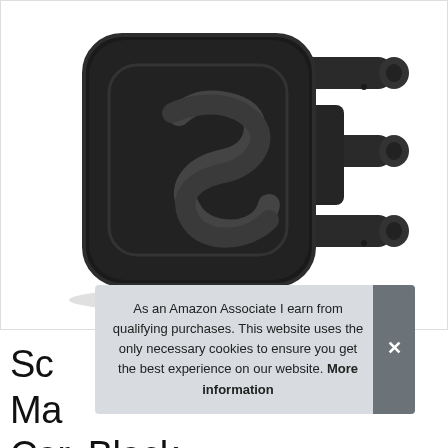[Figure (photo): Black magnetic car vent phone mount with Scosche logo, showing a rounded square magnetic face plate attached to vent clips, photographed on white background]
As an Amazon Associate I earn from qualifying purchases. This website uses the only necessary cookies to ensure you get the best experience on our website. More information
Sc
Ma
Car, Black